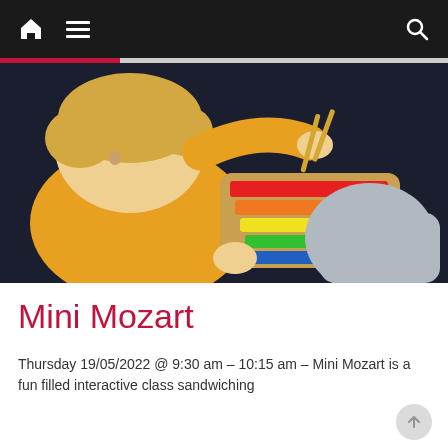Navigation bar with home, menu, and search icons
[Figure (photo): A toddler in a yellow long-sleeve shirt playing with a rainbow-coloured wooden xylophone toy against a dark background]
Mini Mozart
Thursday 19/05/2022 @ 9:30 am – 10:15 am – Mini Mozart is a fun filled interactive class sandwiching